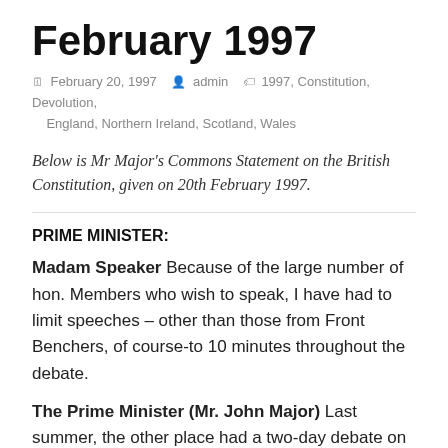February 1997
February 20, 1997   admin   1997, Constitution, Devolution, England, Northern Ireland, Scotland, Wales
Below is Mr Major's Commons Statement on the British Constitution, given on 20th February 1997.
PRIME MINISTER:
Madam Speaker Because of the large number of hon. Members who wish to speak, I have had to limit speeches – other than those from Front Benchers, of course-to 10 minutes throughout the debate.
The Prime Minister (Mr. John Major) Last summer, the other place had a two-day debate on the